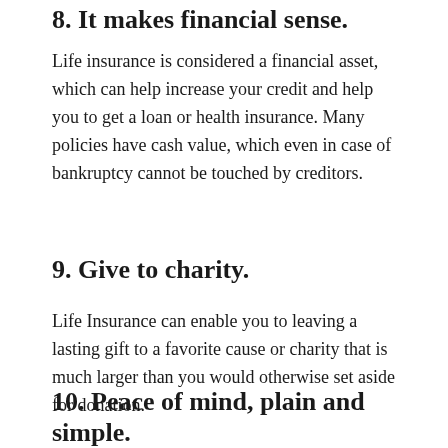8. It makes financial sense.
Life insurance is considered a financial asset, which can help increase your credit and help you to get a loan or health insurance. Many policies have cash value, which even in case of bankruptcy cannot be touched by creditors.
9. Give to charity.
Life Insurance can enable you to leaving a lasting gift to a favorite cause or charity that is much larger than you would otherwise set aside for donation.
10. Peace of mind, plain and simple.